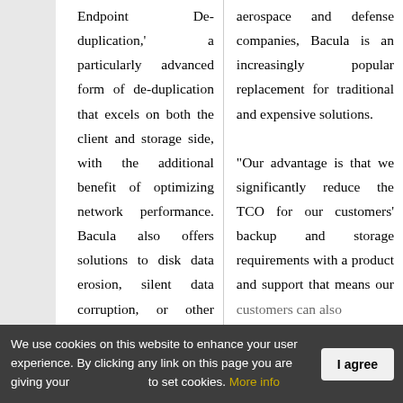Endpoint De-duplication,' a particularly advanced form of de-duplication that excels on both the client and storage side, with the additional benefit of optimizing network performance. Bacula also offers solutions to disk data erosion, silent data corruption, or other time or intrusion
aerospace and defense companies, Bacula is an increasingly popular replacement for traditional and expensive solutions.

“Our advantage is that we significantly reduce the TCO for our customers’ backup and storage requirements with a product and support that means our customers can also
We use cookies on this website to enhance your user experience. By clicking any link on this page you are giving your consent to set cookies. More info